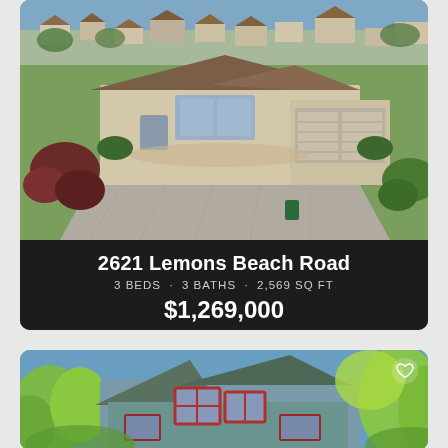[Figure (photo): Aerial drone photo of a single-story house with brown/tan exterior and brown roof, large concrete driveway, two-car garage, green lawn, red-leafed shrubs in foreground, ocean visible in background]
2621 Lemons Beach Road
3 BEDS · 3 BATHS · 2,569 SQ FT
$1,269,000
[Figure (photo): Photo of a two-story house with blue-green siding, red-trimmed windows, brown roof, surrounded by green trees and foliage, blue sky background, heart/favorite icon visible in top right corner]